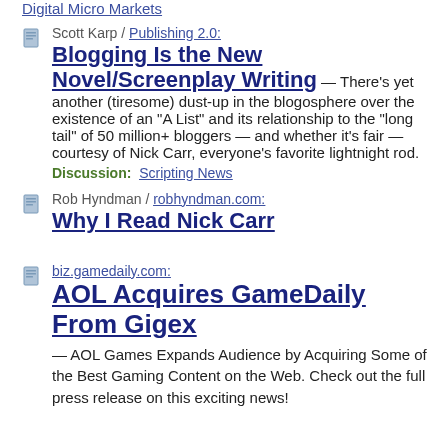Digital Micro Markets
Scott Karp / Publishing 2.0: Blogging Is the New Novel/Screenplay Writing — There's yet another (tiresome) dust-up in the blogosphere over the existence of an "A List" and its relationship to the "long tail" of 50 million+ bloggers — and whether it's fair — courtesy of Nick Carr, everyone's favorite lightnight rod. Discussion: Scripting News
Rob Hyndman / robhyndman.com: Why I Read Nick Carr
biz.gamedaily.com: AOL Acquires GameDaily From Gigex — AOL Games Expands Audience by Acquiring Some of the Best Gaming Content on the Web. Check out the full press release on this exciting news!